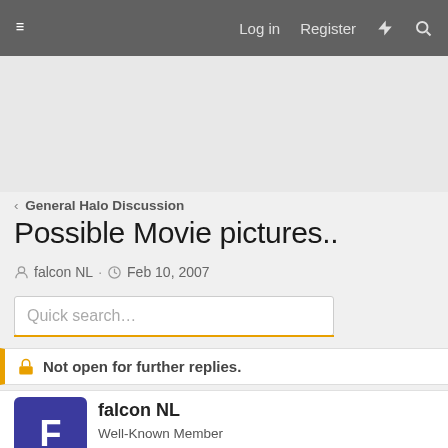≡  Log in  Register  ⚡  🔍
< General Halo Discussion
Possible Movie pictures..
falcon NL · Feb 10, 2007
Quick search...
🔒 Not open for further replies.
falcon NL
Well-Known Member
Feb 10, 2007  #1
Word on the internet is that these are pictures of the halo movie.